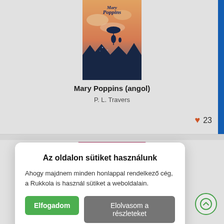[Figure (illustration): Book cover of Mary Poppins (angol) showing silhouettes of Mary Poppins with umbrella and a child flying above rooftops against an orange-pink sky]
Mary Poppins (angol)
P. L. Travers
♥ 23
[Figure (illustration): Partial view of Matilda (angol) book cover below]
Matilda (angol)
Az oldalon sütiket használunk
Ahogy majdnem minden honlappal rendelkező cég, a Rukkola is használ sütiket a weboldalain.
Elfogadom
Elolvasom a részleteket